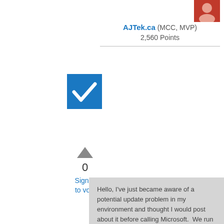[Figure (photo): Red avatar/profile image in top right corner]
AJTek.ca (MCC, MVP)
2,560 Points
[Figure (other): Blue checkbox icon with white checkmark]
[Figure (other): Upward pointing triangle (upvote button)]
0
Sign in to vote
Hello, I've just became aware of a potential update problem in my environment and thought I would post about it before calling Microsoft.  We run a single Windows 2012 R2 server with the WSUS role installed.  This server handles update "policy" for all of our Windows workstations